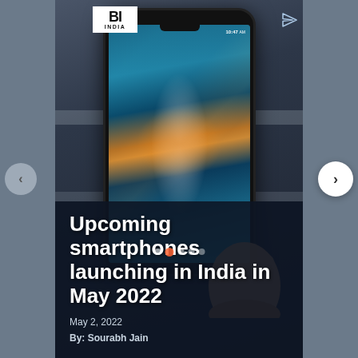[Figure (photo): A hand holding a smartphone displaying a colorful aerial/ocean wallpaper with time 10:47 AM on screen, placed against a dark grey textured surface. The phone has a notch-style display.]
Upcoming smartphones launching in India in May 2022
May 2, 2022
By: Sourabh Jain